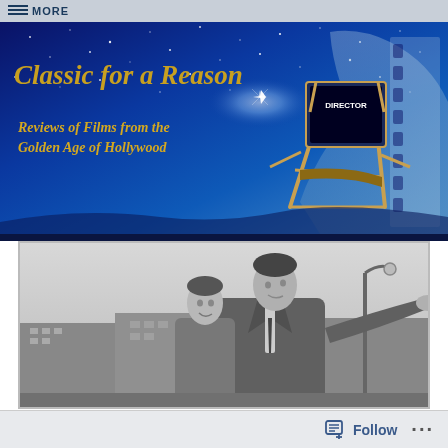More
[Figure (illustration): Blog banner for 'Classic for a Reason' — dark blue starfield background with gold italic serif text reading 'Classic for a Reason' and subtitle 'Reviews of Films from the Golden Age of Hollywood', with a director's chair and film reel graphic on the right side]
[Figure (photo): Black and white photograph of a man in a suit with arm outstretched and a woman smiling beside him, in an outdoor European urban setting with a lamp post in the background]
Follow ...